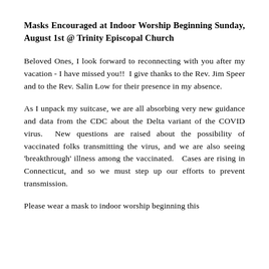Masks Encouraged at Indoor Worship Beginning Sunday, August 1st @ Trinity Episcopal Church
Beloved Ones, I look forward to reconnecting with you after my vacation - I have missed you!!  I give thanks to the Rev. Jim Speer and to the Rev. Salin Low for their presence in my absence.
As I unpack my suitcase, we are all absorbing very new guidance and data from the CDC about the Delta variant of the COVID virus.  New questions are raised about the possibility of vaccinated folks transmitting the virus, and we are also seeing 'breakthrough' illness among the vaccinated.   Cases are rising in Connecticut, and so we must step up our efforts to prevent transmission.
Please wear a mask to indoor worship beginning this